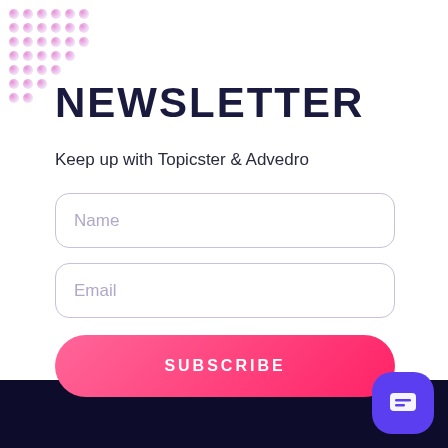NEWSLETTER
Keep up with Topicster & Advedro
[Figure (infographic): Newsletter signup form UI with Name input field, Email input field, and a pink SUBSCRIBE button. Decorative pink dot grid pattern in top-left corner, pink radial glow behind button, dark navy footer bar at bottom, and a purple rounded chat button in bottom-right corner.]